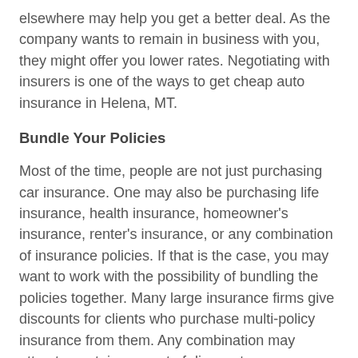elsewhere may help you get a better deal. As the company wants to remain in business with you, they might offer you lower rates. Negotiating with insurers is one of the ways to get cheap auto insurance in Helena, MT.
Bundle Your Policies
Most of the time, people are not just purchasing car insurance. One may also be purchasing life insurance, health insurance, homeowner's insurance, renter's insurance, or any combination of insurance policies. If that is the case, you may want to work with the possibility of bundling the policies together. Many large insurance firms give discounts for clients who purchase multi-policy insurance from them. Any combination may attract a certain amount of discount.
Bundling your policies enables you to save money and also makes your life simpler. The use of one insurer saves you from dealing with multiple insurance companies. If you would like to know which automobile insurance companies offer such deals,